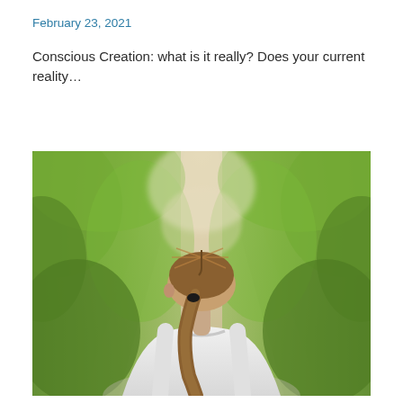February 23, 2021
Conscious Creation: what is it really? Does your current reality…
[Figure (photo): Back view of a woman with a ponytail wearing a white tank top, standing on a dirt path flanked by lush green trees and foliage, looking forward down the path.]